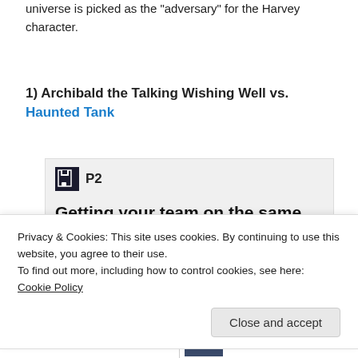universe is picked as the "adversary" for the Harvey character.
1) Archibald the Talking Wishing Well vs. Haunted Tank
[Figure (screenshot): Advertisement for P2 (WordPress.com team blogging platform). Shows P2 logo (floppy disk icon), text 'Getting your team on the same page is easy. And free.' with profile photo circles of team members.]
Privacy & Cookies: This site uses cookies. By continuing to use this website, you agree to their use.
To find out more, including how to control cookies, see here: Cookie Policy
Close and accept
[Figure (screenshot): Bottom strip showing partial thumbnails for two comic book images, including a Haunted Tank cover on the right.]